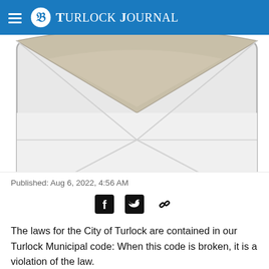Turlock Journal
[Figure (illustration): Illustration of a letter envelope, partially cropped, showing the triangular flap and body of the envelope in light gray tones with rounded corners.]
Published: Aug 6, 2022, 4:56 AM
[Figure (other): Social sharing icons: Facebook, Twitter, and link/chain icons]
The laws for the City of Turlock are contained in our Turlock Municipal code: When this code is broken, it is a violation of the law.